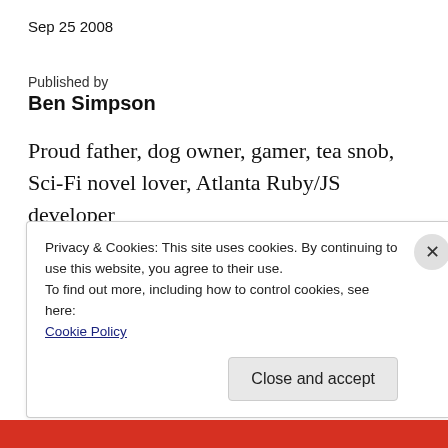Sep 25 2008
Published by
Ben Simpson
Proud father, dog owner, gamer, tea snob, Sci-Fi novel lover, Atlanta Ruby/JS developer
View all posts by Ben Simpson ›
Privacy & Cookies: This site uses cookies. By continuing to use this website, you agree to their use.
To find out more, including how to control cookies, see here:
Cookie Policy
Close and accept